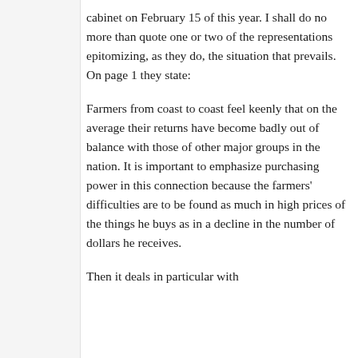cabinet on February 15 of this year. I shall do no more than quote one or two of the representations epitomizing, as they do, the situation that prevails. On page 1 they state:
Farmers from coast to coast feel keenly that on the average their returns have become badly out of balance with those of other major groups in the nation. It is important to emphasize purchasing power in this connection because the farmers' difficulties are to be found as much in high prices of the things he buys as in a decline in the number of dollars he receives.
Then it deals in particular with